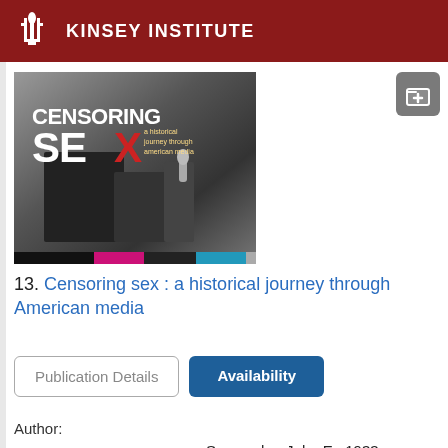KINSEY INSTITUTE
[Figure (photo): Book cover of 'Censoring Sex: A Historical Journey Through American Media' with black and white background image, bold white and red text, and colored bar at bottom]
13. Censoring sex : a historical journey through American media
Publication Details
Availability
Author:
Semonche, John E., 1933-
Published:
Lanham : Rowman &